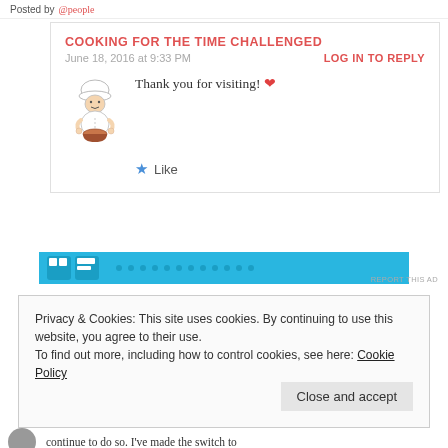Posted by [username link]
COOKING FOR THE TIME CHALLENGED
June 18, 2016 at 9:33 PM
LOG IN TO REPLY
[Figure (illustration): Cartoon chef illustration holding a bowl]
Thank you for visiting! ❤
★ Like
[Figure (screenshot): Blue advertisement banner strip]
REPORT THIS AD
Privacy & Cookies: This site uses cookies. By continuing to use this website, you agree to their use.
To find out more, including how to control cookies, see here: Cookie Policy
Close and accept
continue to do so. I've made the switch to